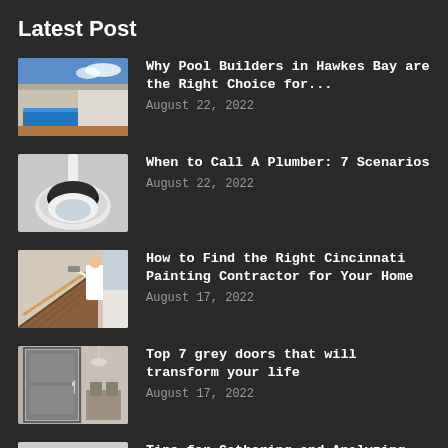Latest Post
Why Pool Builders in Hawkes Bay are the Right Choice for... | August 22, 2022
When to Call A Plumber: 7 Scenarios | August 22, 2022
How to Find the Right Cincinnati Painting Contractor for Your Home | August 17, 2022
Top 7 grey doors that will transform your life | August 17, 2022
Tips for Gathering and Analyzing Real Estate